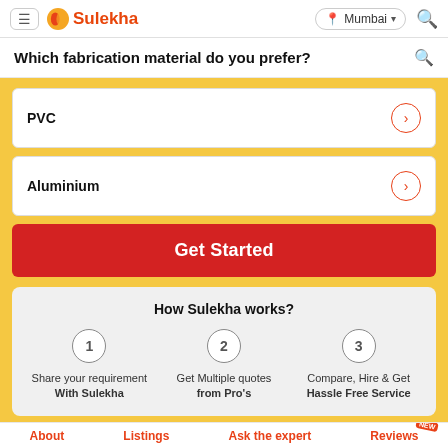Sulekha — Mumbai
Which fabrication material do you prefer?
PVC
Aluminium
Get Started
How Sulekha works?
1 Share your requirement With Sulekha
2 Get Multiple quotes from Pro's
3 Compare, Hire & Get Hassle Free Service
About   Listings   Ask the expert   Reviews